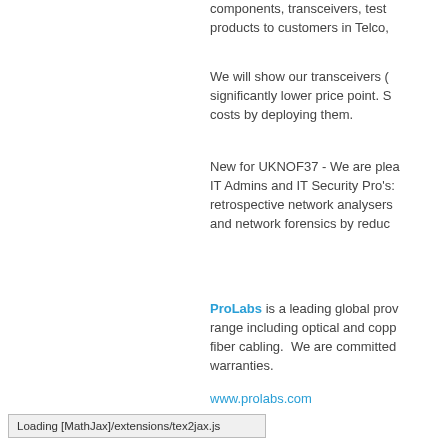components, transceivers, test products to customers in Telco,
We will show our transceivers (significantly lower price point. S costs by deploying them.
New for UKNOF37 - We are plea IT Admins and IT Security Pro's: retrospective network analysers and network forensics by reduc
ProLabs is a leading global prov range including optical and copp fiber cabling.  We are committed warranties.
www.prolabs.com
Loading [MathJax]/extensions/tex2jax.js